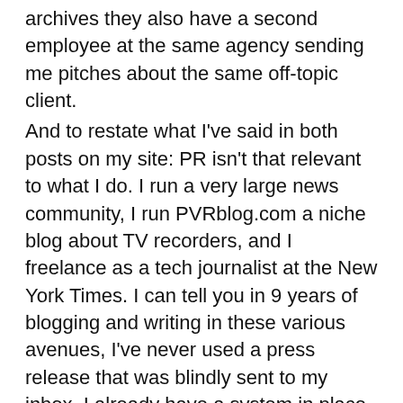archives they also have a second employee at the same agency sending me pitches about the same off-topic client. And to restate what I've said in both posts on my site: PR isn't that relevant to what I do. I run a very large news community, I run PVRblog.com a niche blog about TV recorders, and I freelance as a tech journalist at the New York Times. I can tell you in 9 years of blogging and writing in these various avenues, I've never used a press release that was blindly sent to my inbox. I already have a system in place for figuring out new things to cover in my blog and fielding hundreds of press releases I didn't ask for doesn't factor into it at all. I follow design and tech blogs, Google News